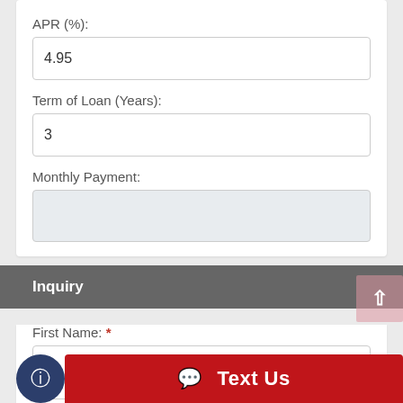APR (%):
4.95
Term of Loan (Years):
3
Monthly Payment:
Inquiry
First Name: *
Last Name: *
Text Us